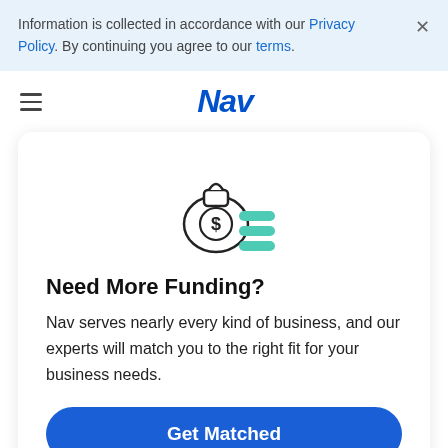Information is collected in accordance with our Privacy Policy. By continuing you agree to our terms.
Nav
[Figure (illustration): Icon of a money bag with a dollar sign and three teal horizontal lines representing cash/coins, outlined in dark gray]
Need More Funding?
Nav serves nearly every kind of business, and our experts will match you to the right fit for your business needs.
Get Matched